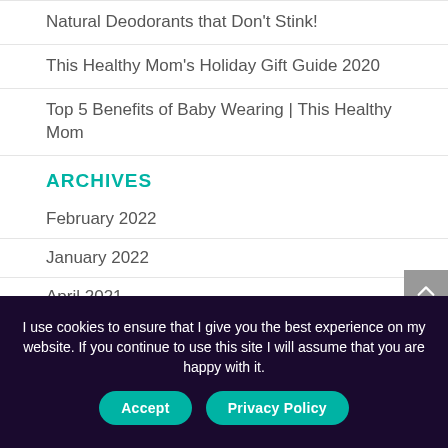Natural Deodorants that Don’t Stink!
This Healthy Mom’s Holiday Gift Guide 2020
Top 5 Benefits of Baby Wearing | This Healthy Mom
ARCHIVES
February 2022
January 2022
April 2021
November 2020
I use cookies to ensure that I give you the best experience on my website. If you continue to use this site I will assume that you are happy with it.
Accept | Privacy Policy